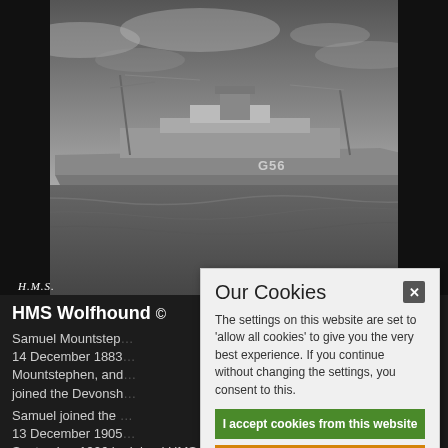[Figure (photo): Black and white photograph of HMS Wolfhound, a Royal Navy destroyer at sea. The ship is visible with hull number G56. Caption text 'H.M.S.' visible at bottom left of the photo.]
HMS Wolfhound ©
Samuel Mountstep... 14 December 1883... Mountstephen, and... joined the Devonsh...
Samuel joined the... 13 December 1905... September 1906 he joined HMS Theseus, an Edgar...
[Figure (screenshot): Cookie consent overlay dialog with title 'Our Cookies', explanatory text, and three buttons: 'I accept cookies from this website' (green), 'Change settings' (orange), 'Find out more about cookies' (gray).]